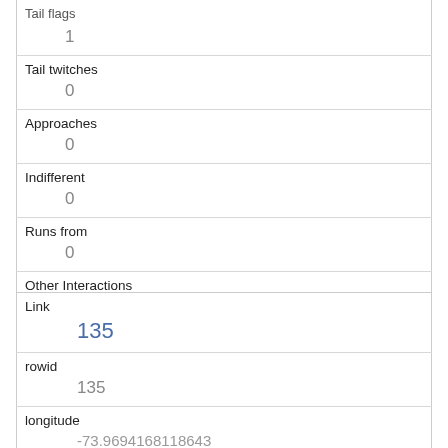| Tail flags | 1 |
| Tail twitches | 0 |
| Approaches | 0 |
| Indifferent | 0 |
| Runs from | 0 |
| Other Interactions | studying us looking for food |
| Lat/Long | POINT (-73.9664711607022 40.787896428768) |
| Link | 135 |
| rowid | 135 |
| longitude | -73.9694168118643 |